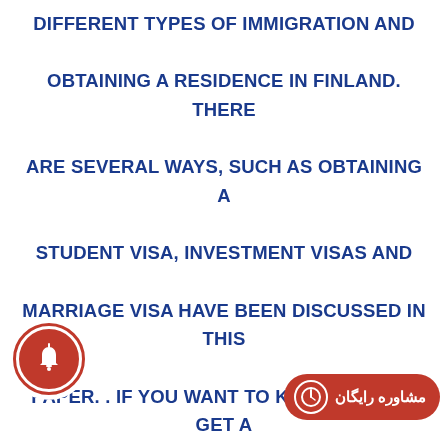DIFFERENT TYPES OF IMMIGRATION AND OBTAINING A RESIDENCE IN FINLAND. THERE ARE SEVERAL WAYS, SUCH AS OBTAINING A STUDENT VISA, INVESTMENT VISAS AND MARRIAGE VISA HAVE BEEN DISCUSSED IN THIS PAPER. . IF YOU WANT TO KNOW HOW TO GET A RESIDENCE IN FINLAND AND THE CONDITIONS OF IMMIGRATION TO FINLAND AND THE CONDITIONS OF LIFE IN FINLAND AND OBTAINING FINNISH PERMANENT RESIDENCE AND CITIZENSHIP . YOU CAN CONTACT OUR EXPERT CONSULTANTS AND LAWYERS AT MIE CONSULTING AGENCY AND RECE...
[Figure (logo): Red circular bell notification icon (bottom left)]
[Figure (logo): Red oval label with Persian text 'مشاوره رایگان' (free consultation) and a small icon, bottom right]